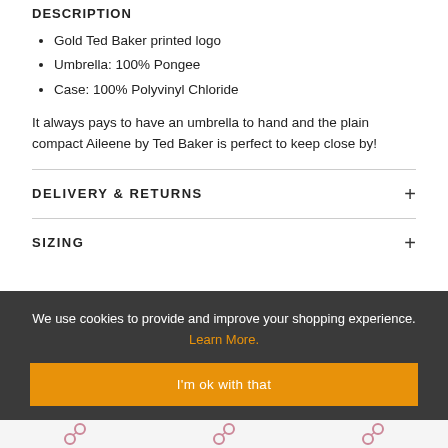DESCRIPTION
Gold Ted Baker printed logo
Umbrella: 100% Pongee
Case: 100% Polyvinyl Chloride
It always pays to have an umbrella to hand and the plain compact Aileene by Ted Baker is perfect to keep close by!
DELIVERY & RETURNS
SIZING
We use cookies to provide and improve your shopping experience. Learn More.
I'm ok with that